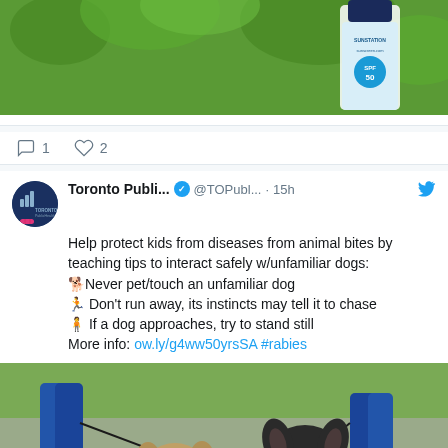[Figure (photo): Partial photo of a sunscreen bottle with SPF 50, surrounded by green foliage background]
1   2
[Figure (logo): Toronto Public Health logo with bar chart icon and pink bandage]
Toronto Publi... ✓ @TOPubl... · 15h
Help protect kids from diseases from animal bites by teaching tips to interact safely w/unfamiliar dogs:
🐕Never pet/touch an unfamiliar dog
🏃 Don't run away, its instincts may tell it to chase
🧍 If a dog approaches, try to stand still
More info: ow.ly/g4ww50yrsSA #rabies
[Figure (photo): Two dogs (a pug and a French bulldog) on a leash being walked in a park, with people's legs visible in the background]